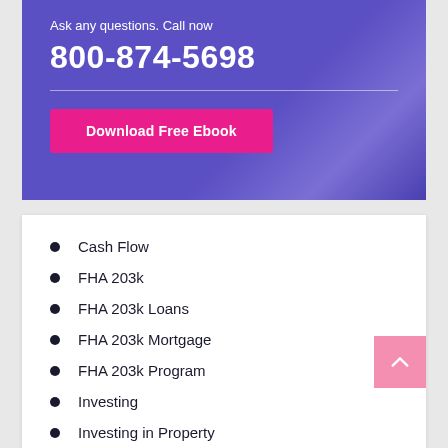Ask any questions. Call now
800-874-5698
Download Free Ebook
Cash Flow
FHA 203k
FHA 203k Loans
FHA 203k Mortgage
FHA 203k Program
Investing
Investing in Property
Investing in Real Estate